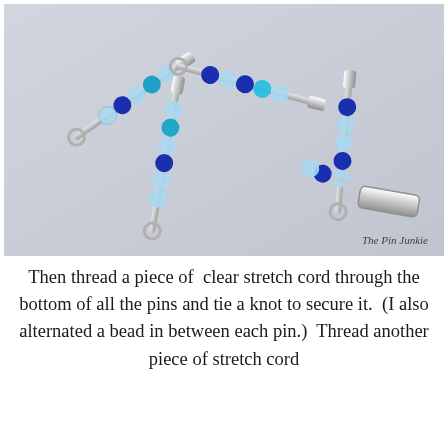[Figure (photo): A photograph showing several safety pins laid on a light gray/purple surface. The safety pins have blue and light blue/frosted beads threaded onto them — alternating deep cobalt blue and pale frosted light blue beads. The pins are silver-colored and arranged scattered across the surface. A watermark reads 'The Pin Junkie' in the lower right corner.]
Then thread a piece of  clear stretch cord through the bottom of all the pins and tie a knot to secure it.  (I also alternated a bead in between each pin.)  Thread another piece of stretch cord